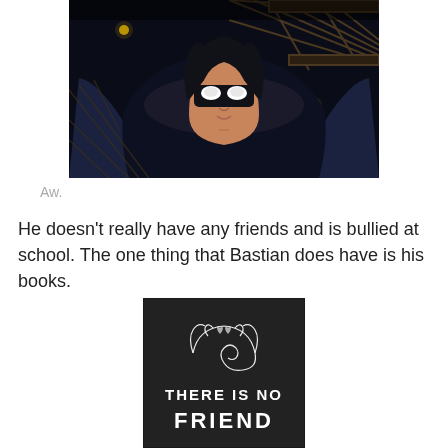[Figure (illustration): Screenshot from Batman: The Animated Series showing Batman's face with glowing white eyes against a dark background with industrial structures]
Aw.
He doesn't really have any friends and is bullied at school. The one thing that Bastian does have is his books.
[Figure (photo): Dark chalkboard-style image with white decorative script and text reading 'THERE IS NO FRIEND']